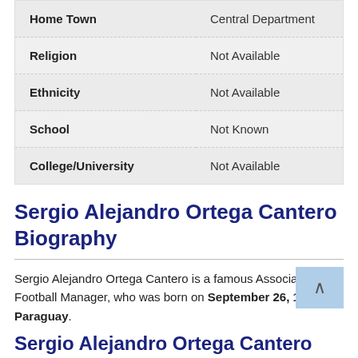| Field | Value |
| --- | --- |
| Home Town | Central Department |
| Religion | Not Available |
| Ethnicity | Not Available |
| School | Not Known |
| College/University | Not Available |
Sergio Alejandro Ortega Cantero Biography
Sergio Alejandro Ortega Cantero is a famous Association Football Manager, who was born on September 26, 1988 in Paraguay.
Sergio Alejandro Ortega Cantero Net Worth & Salary